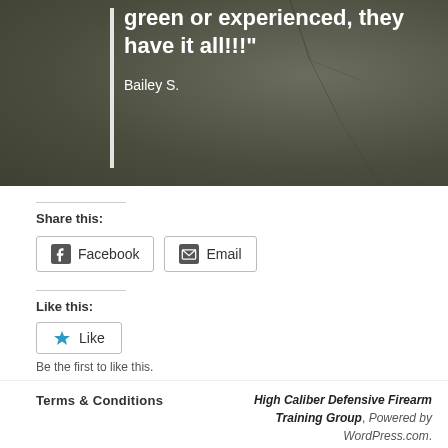[Figure (photo): Dark olive/grey textured background with a white vertical bar on the left side. Contains a quote in bold white text and an attribution.]
green or experienced, they have it all!!!"
Bailey S.
Share this:
Facebook
Email
Like this:
Like
Be the first to like this.
Terms & Conditions    High Caliber Defensive Firearm Training Group, Powered by WordPress.com.